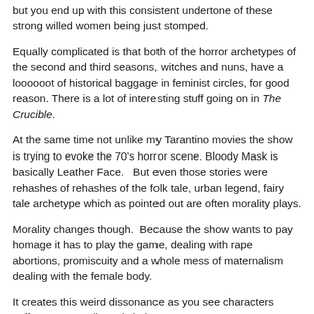but you end up with this consistent undertone of these strong willed women being just stomped.
Equally complicated is that both of the horror archetypes of the second and third seasons, witches and nuns, have a loooooot of historical baggage in feminist circles, for good reason. There is a lot of interesting stuff going on in The Crucible.
At the same time not unlike my Tarantino movies the show is trying to evoke the 70's horror scene. Bloody Mask is basically Leather Face.   But even those stories were rehashes of rehashes of the folk tale, urban legend, fairy tale archetype which as pointed out are often morality plays.
Morality changes though.  Because the show wants to pay homage it has to play the game, dealing with rape abortions, promiscuity and a whole mess of maternalism dealing with the female body.
It creates this weird dissonance as you see characters suffer over complicated choices.